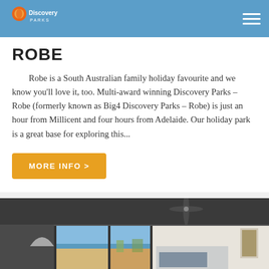Discovery Parks
ROBE
Robe is a South Australian family holiday favourite and we know you'll love it, too. Multi-award winning Discovery Parks – Robe (formerly known as Big4 Discovery Parks – Robe) is just an hour from Millicent and four hours from Adelaide. Our holiday park is a great base for exploring this...
MORE INFO >
[Figure (photo): Interior of a holiday cabin with large glass sliding doors opening to a beach view, white ceiling with a ceiling fan, and comfortable furnishings inside.]